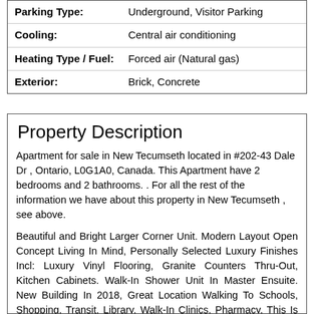| Property Feature | Value |
| --- | --- |
| Parking Type: | Underground, Visitor Parking |
| Cooling: | Central air conditioning |
| Heating Type / Fuel: | Forced air (Natural gas) |
| Exterior: | Brick, Concrete |
Property Description
Apartment for sale in New Tecumseth located in #202-43 Dale Dr , Ontario, L0G1A0, Canada. This Apartment have 2 bedrooms and 2 bathrooms. . For all the rest of the information we have about this property in New Tecumseth , see above.
Beautiful and Bright Larger Corner Unit. Modern Layout Open Concept Living In Mind, Personally Selected Luxury Finishes Incl: Luxury Vinyl Flooring, Granite Counters Thru-Out, Kitchen Cabinets. Walk-In Shower Unit In Master Ensuite. New Building In 2018, Great Location Walking To Schools, Shopping, Transit, Library, Walk-In Clinics, Pharmacy. This Is A Must See, It's The Only Condo Available Make This Your New Home!* EXTRAS * S/S Fridge, Stove, Microwave, B/I Dishwasher, Stackable Washer and Dryer, Closet Organizer. Parking Is Indoors With Locker. Hwt - Owned, Condo Incl: Elect, Common Ele, Bldg Ins, Prkg.